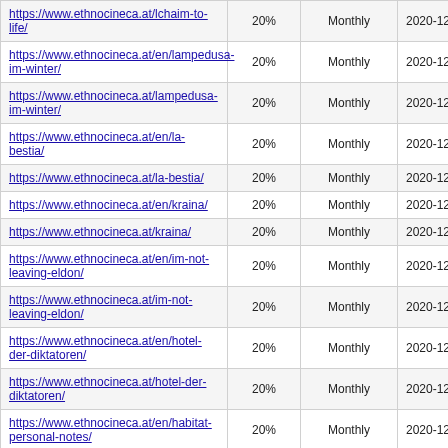| https://www.ethnocineca.at/lchaim-to-life/ | 20% | Monthly | 2020-12-15 12:49 |
| https://www.ethnocineca.at/en/lampedusa-im-winter/ | 20% | Monthly | 2020-12-15 12:48 |
| https://www.ethnocineca.at/lampedusa-im-winter/ | 20% | Monthly | 2020-12-15 12:48 |
| https://www.ethnocineca.at/en/la-bestia/ | 20% | Monthly | 2020-12-15 12:47 |
| https://www.ethnocineca.at/la-bestia/ | 20% | Monthly | 2020-12-15 12:46 |
| https://www.ethnocineca.at/en/kraina/ | 20% | Monthly | 2020-12-15 12:45 |
| https://www.ethnocineca.at/kraina/ | 20% | Monthly | 2020-12-15 12:44 |
| https://www.ethnocineca.at/en/im-not-leaving-eldon/ | 20% | Monthly | 2020-12-15 12:43 |
| https://www.ethnocineca.at/im-not-leaving-eldon/ | 20% | Monthly | 2020-12-15 12:43 |
| https://www.ethnocineca.at/en/hotel-der-diktatoren/ | 20% | Monthly | 2020-12-15 12:41 |
| https://www.ethnocineca.at/hotel-der-diktatoren/ | 20% | Monthly | 2020-12-15 12:41 |
| https://www.ethnocineca.at/en/habitat-personal-notes/ | 20% | Monthly | 2020-12-15 12:40 |
| https://www.ethnocineca.at/habitat-personal- | 20% | Monthly | 2020-12-15 |